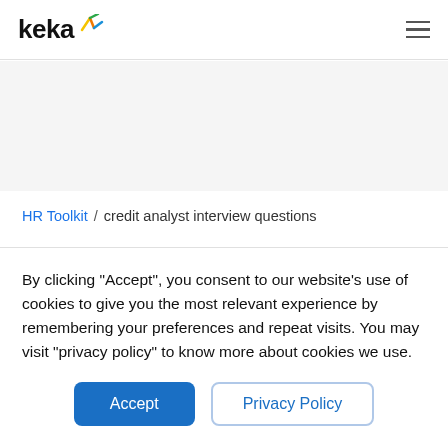keka [logo with sparkle icon] [hamburger menu]
HR Toolkit / credit analyst interview questions
Credit Analyst Interview
By clicking “Accept”, you consent to our website’s use of cookies to give you the most relevant experience by remembering your preferences and repeat visits. You may visit “privacy policy” to know more about cookies we use.
Accept | Privacy Policy